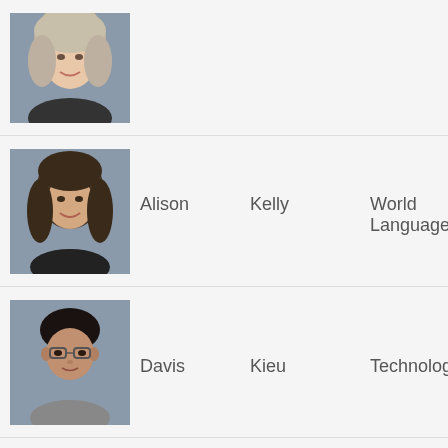[Figure (photo): Headshot of a woman with light hair, smiling, wearing dark clothing, gray background]
[Figure (photo): Headshot of a woman with dark shoulder-length hair, smiling, wearing black top, gray background]
Alison   Kelly   World Language
[Figure (photo): Headshot of a young man with dark hair and glasses, wearing gray shirt, gray background]
Davis   Kieu   Technology
[Figure (photo): Headshot of a man wearing a gray baseball cap, wearing red clothing, gray background]
Diamond   King   IEP Counselo